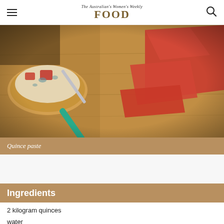The Australian Women's Weekly FOOD
[Figure (photo): Slices of deep red quince paste on a wooden cutting board, with blue cheese on toasted bread and a teal-handled knife]
Quince paste
Ingredients
2 kilogram quinces
water